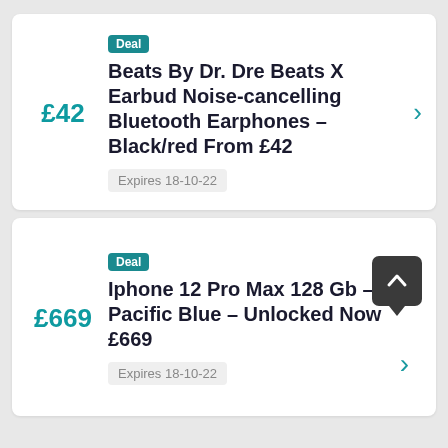Deal — Beats By Dr. Dre Beats X Earbud Noise-cancelling Bluetooth Earphones – Black/red From £42. Expires 18-10-22. Price: £42
Deal — Iphone 12 Pro Max 128 Gb – Pacific Blue – Unlocked Now £669. Expires 18-10-22. Price: £669